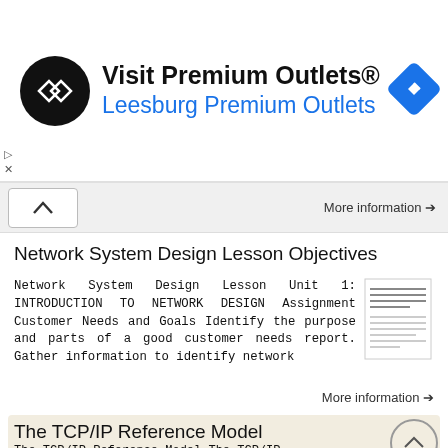[Figure (screenshot): Advertisement banner for Visit Premium Outlets® - Leesburg Premium Outlets with logo and navigation icon]
More information →
Network System Design Lesson Objectives
Network System Design Lesson Unit 1: INTRODUCTION TO NETWORK DESIGN Assignment Customer Needs and Goals Identify the purpose and parts of a good customer needs report. Gather information to identify network
More information →
The TCP/IP Reference Model
The TCP/IP Reference Model The TCP/IP